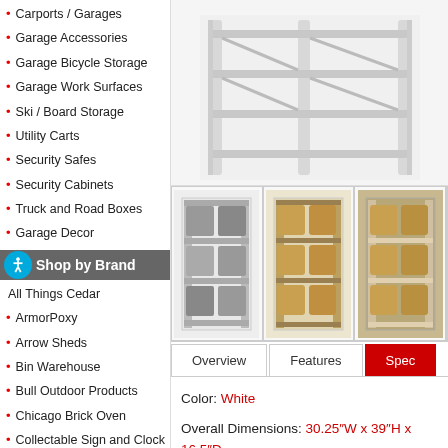Carports / Garages
Garage Accessories
Garage Bicycle Storage
Garage Work Surfaces
Ski / Board Storage
Utility Carts
Security Safes
Security Cabinets
Truck and Road Boxes
Garage Decor
Shop by Brand
All Things Cedar
ArmorPoxy
Arrow Sheds
Bin Warehouse
Bull Outdoor Products
Chicago Brick Oven
Collectable Sign and Clock
Contur Cabinet
Creekvine Designs
DeWALT
DuraMax
Extreme Tools
Fleximounts
[Figure (photo): White metal shelving unit (main product image)]
[Figure (photo): Thumbnail: shelving unit with grey bins]
[Figure (photo): Thumbnail: shelving unit with wicker baskets]
[Figure (photo): Thumbnail: shelving unit with wicker baskets outdoors]
Color: White
Overall Dimensions: 30.25″W x 39″H x 16.5″D
Warranty: Limited Lifetime on Replacement Parts